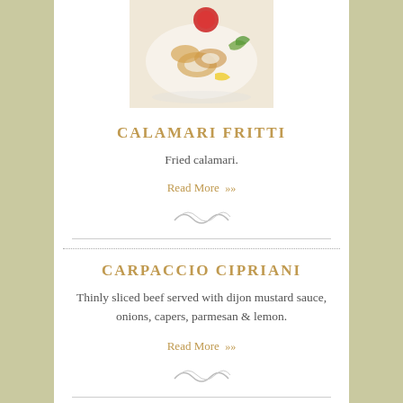[Figure (photo): Photo of fried calamari dish on a white plate with lemon, greens, and red sauce]
CALAMARI FRITTI
Fried calamari.
Read More »
CARPACCIO CIPRIANI
Thinly sliced beef served with dijon mustard sauce, onions, capers, parmesan & lemon.
Read More »